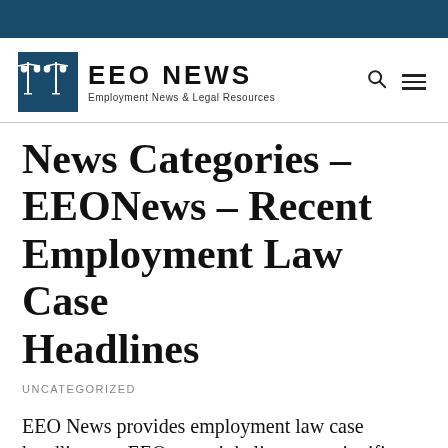EEO NEWS — Employment News & Legal Resources
News Categories – EEONews – Recent Employment Law Case Headlines
UNCATEGORIZED
EEO News provides employment law case headlines on EEO cases it believes are significant.